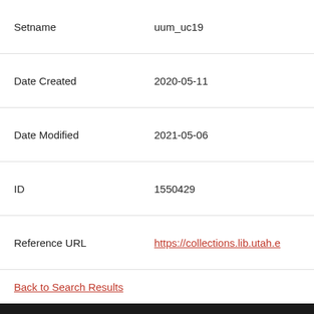| Field | Value |
| --- | --- |
| Setname | uum_uc19 |
| Date Created | 2020-05-11 |
| Date Modified | 2021-05-06 |
| ID | 1550429 |
| Reference URL | https://collections.lib.utah.e… |
Back to Search Results
[Figure (logo): J. Willard Marriott Digital Library - The University of Utah logo with red block U symbol on dark background]
J. Willard Marriott Library